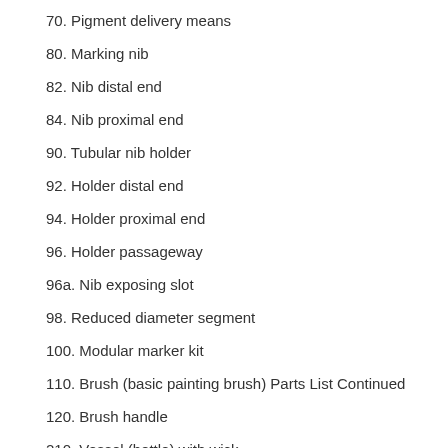70. Pigment delivery means
80. Marking nib
82. Nib distal end
84. Nib proximal end
90. Tubular nib holder
92. Holder distal end
94. Holder proximal end
96. Holder passageway
96a. Nib exposing slot
98. Reduced diameter segment
100. Modular marker kit
110. Brush (basic painting brush) Parts List Continued
120. Brush handle
210. Vessel (bottle) with wick